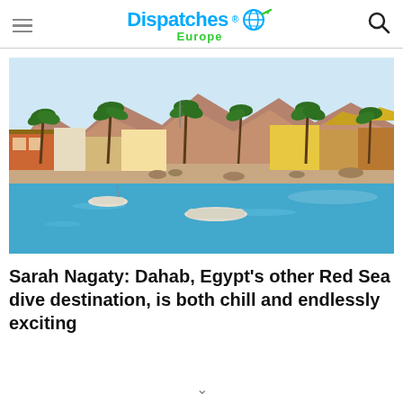Dispatches Europe
[Figure (photo): Coastal town of Dahab, Egypt on the Red Sea, with boats on turquoise water, palm trees, colorful seafront buildings, and rocky mountains in the background.]
Sarah Nagaty: Dahab, Egypt's other Red Sea dive destination, is both chill and endlessly exciting